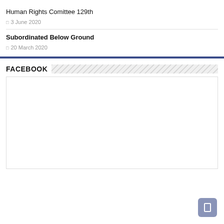Human Rights Comittee 129th
3 June 2020
Subordinated Below Ground
20 March 2020
FACEBOOK
[Figure (other): Empty Facebook widget box with blank white content area]